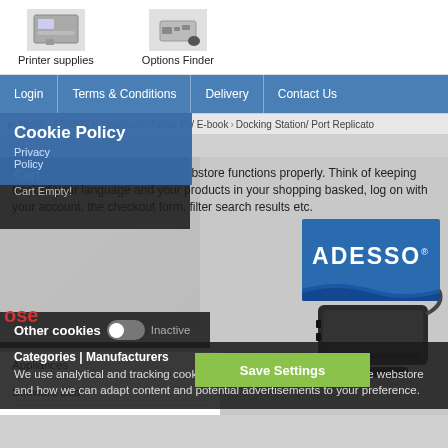[Figure (screenshot): Top area showing product category icons for Printer supplies and Options Finder]
Printer supplies
Options Finder
Login | Terms & Conditions | Delivery | Contact Us
Cookie Policy
Privacy Policy
Home > ADESSO > Notebook/ Tablet Pc/ E-book > Docking Station/ Port Replicato
Cart
Cart Empty!
These cookies ensure that the webstore functions properly. Think of keeping track of your language and your products in your shopping basked, log on with your account, the checkout form, filter search results etc.
[Figure (logo): ADESSO brand logo in blue with wave design]
Other cookies  Inactive
Categories | Manufacturers
We use analytical and tracking cookies to see how we can improve the webstore and how we can adapt content and potential advertisements to your preference.
Appliances
Software Esd
Audio/ Video/ Multimedia
Save Settings
[Figure (photo): ADESSO docking station / USB-C hub device photo]